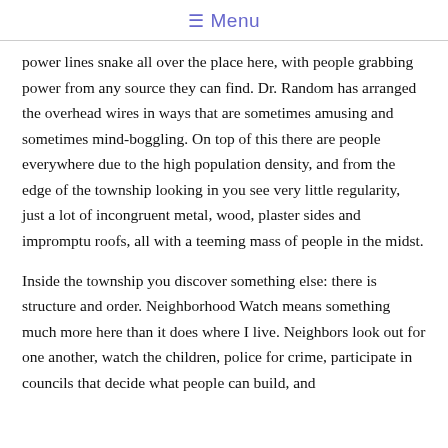☰ Menu
power lines snake all over the place here, with people grabbing power from any source they can find. Dr. Random has arranged the overhead wires in ways that are sometimes amusing and sometimes mind-boggling. On top of this there are people everywhere due to the high population density, and from the edge of the township looking in you see very little regularity, just a lot of incongruent metal, wood, plaster sides and impromptu roofs, all with a teeming mass of people in the midst.
Inside the township you discover something else: there is structure and order. Neighborhood Watch means something much more here than it does where I live. Neighbors look out for one another, watch the children, police for crime, participate in councils that decide what people can build, and